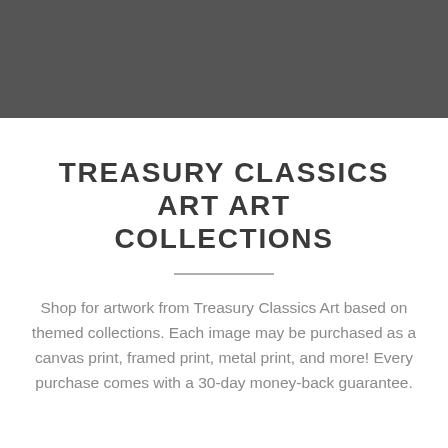[Figure (other): Dark gray header bar spanning the full width of the page]
TREASURY CLASSICS ART ART COLLECTIONS
Shop for artwork from Treasury Classics Art based on themed collections. Each image may be purchased as a canvas print, framed print, metal print, and more! Every purchase comes with a 30-day money-back guarantee.